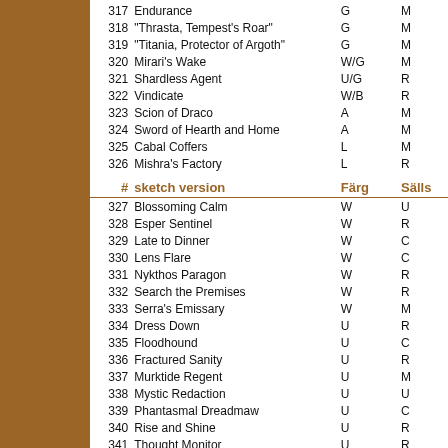| # | version | Färg | Sälls |
| --- | --- | --- | --- |
| 317 | Endurance | G | M |
| 318 | "Thrasta, Tempest's Roar" | G | M |
| 319 | "Titania, Protector of Argoth" | G | M |
| 320 | Mirari's Wake | W/G | M |
| 321 | Shardless Agent | U/G | R |
| 322 | Vindicate | W/B | R |
| 323 | Scion of Draco | A | M |
| 324 | Sword of Hearth and Home | A | M |
| 325 | Cabal Coffers | L | M |
| 326 | Mishra's Factory | L | R |
| # | sketch version | Färg | Sälls |
| 327 | Blossoming Calm | W | U |
| 328 | Esper Sentinel | W | R |
| 329 | Late to Dinner | W | C |
| 330 | Lens Flare | W | C |
| 331 | Nykthos Paragon | W | R |
| 332 | Search the Premises | W | R |
| 333 | Serra's Emissary | W | M |
| 334 | Dress Down | U | R |
| 335 | Floodhound | U | C |
| 336 | Fractured Sanity | U | R |
| 337 | Murktide Regent | U | M |
| 338 | Mystic Redaction | U | U |
| 339 | Phantasmal Dreadmaw | U | C |
| 340 | Rise and Shine | U | R |
| 341 | Thought Monitor | U | R |
| 342 | Archon of Cruelty | B | M |
| 343 | Kitchen Imp | B | C |